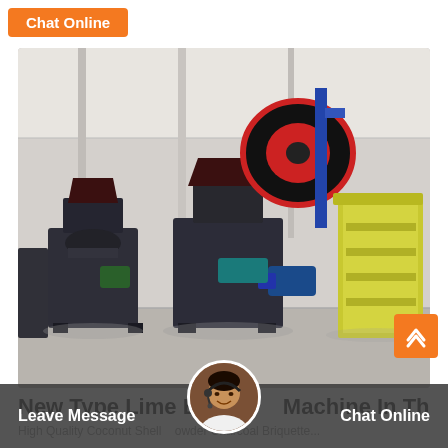Chat Online
[Figure (photo): Industrial machinery — multiple dark grey briquette press machines and a yellow jaw crusher in a warehouse/factory setting]
New Type Lime Briquette Machine In Thailand
High Quality Coconut Shell Powder Charcoal Briquette...
Leave Message   Chat Online